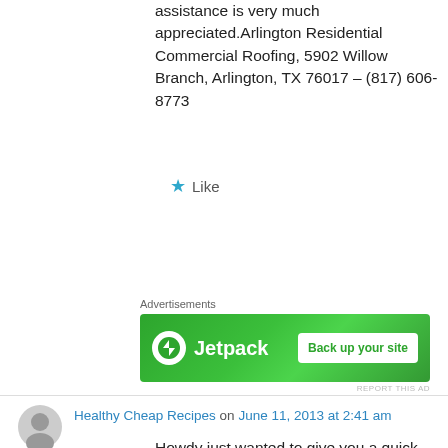assistance is very much appreciated.Arlington Residential Commercial Roofing, 5902 Willow Branch, Arlington, TX 76017 – (817) 606-8773
★ Like
Advertisements
[Figure (screenshot): Jetpack advertisement banner with green background, Jetpack logo on the left and 'Back up your site' button on the right]
Healthy Cheap Recipes on June 11, 2013 at 2:41 am
Howdy just wanted to give you a quick heads up. The words in your article seem to be running off the screen in Ie. I'm not sure if this is a formatting issue or something to do with browser compatibility but I thought I'd post